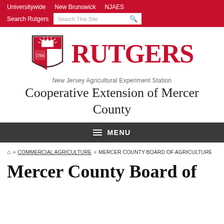Universitywide | New Brunswick | NJAES | Search Rutgers | Search This Site
[Figure (logo): Rutgers University logo with shield and red RUTGERS wordmark, followed by New Jersey Agricultural Experiment Station subtitle and Cooperative Extension of Mercer County]
MENU
Home > COMMERCIAL AGRICULTURE > MERCER COUNTY BOARD OF AGRICULTURE
Mercer County Board of